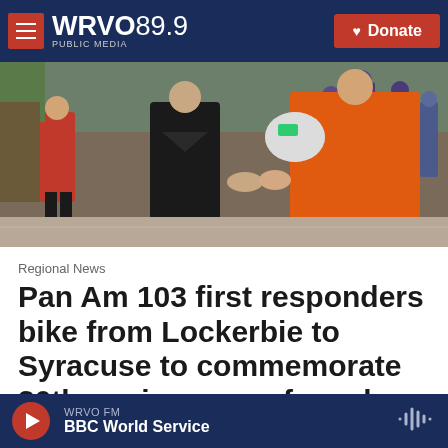WRVO 89.9 PUBLIC MEDIA — Donate
[Figure (photo): People shaking hands outdoors at an event; a person in an orange jacket holds a bicycle helmet, others in purple cycling gear in the background]
Regional News
Pan Am 103 first responders bike from Lockerbie to Syracuse to commemorate 30th anniversary of crash
WRVO FM — BBC World Service